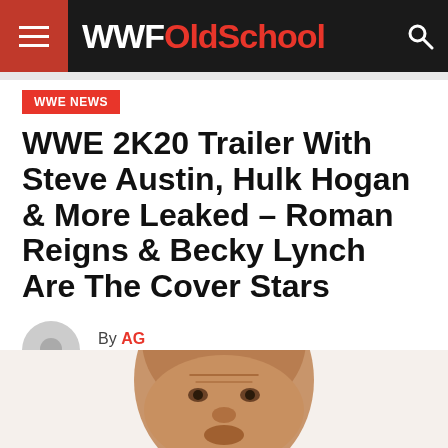WWFOldSchool
WWE NEWS
WWE 2K20 Trailer With Steve Austin, Hulk Hogan & More Leaked – Roman Reigns & Becky Lynch Are The Cover Stars
By AG
Posted on August 4, 2019
[Figure (photo): Partial photo of a bald male wrestler/person, cropped at bottom of page]